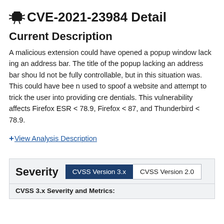CVE-2021-23984 Detail
Current Description
A malicious extension could have opened a popup window lacking an address bar. The title of the popup lacking an address bar should not be fully controllable, but in this situation was. This could have been used to spoof a website and attempt to trick the user into providing credentials. This vulnerability affects Firefox ESR < 78.9, Firefox < 87, and Thunderbird < 78.9.
+ View Analysis Description
| Severity | CVSS Version 3.x | CVSS Version 2.0 |
| --- | --- | --- |
CVSS 3.x Severity and Metrics: